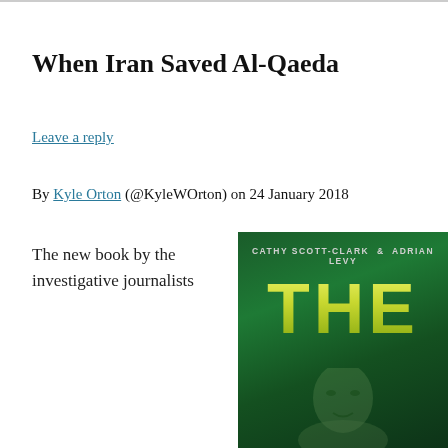When Iran Saved Al-Qaeda
Leave a reply
By Kyle Orton (@KyleWOrton) on 24 January 2018
The new book by the investigative journalists
[Figure (photo): Book cover showing 'THE' in large yellow-green letters on a dark green background, with authors CATHY SCOTT-CLARK & ADRIAN LEVY listed at the top, and a faint face silhouette at the bottom.]